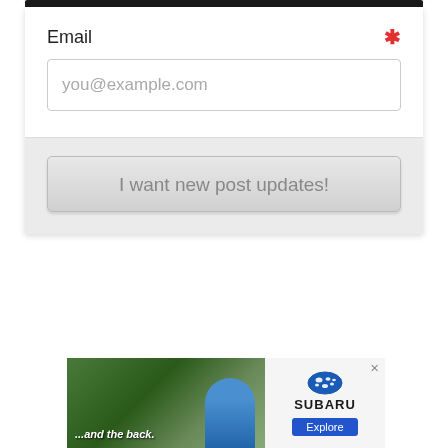Email *
you@example.com
I want new post updates!
[Figure (screenshot): Subaru advertisement banner showing a car exterior with a person in the back, text '...and the back.' on the left and Subaru logo with 'Explore' button on the right]